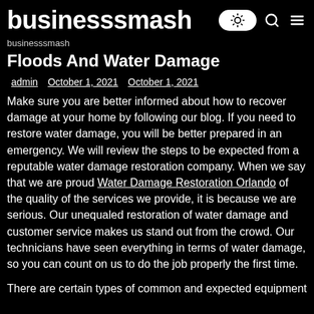businesssmash
businesssmash
Floods And Water Damage
admin   October 1, 2021   October 1, 2021
Make sure you are better informed about how to recover damage at your home by following our blog. If you need to restore water damage, you will be better prepared in an emergency. We will review the steps to be expected from a reputable water damage restoration company. When we say that we are proud Water Damage Restoration Orlando of the quality of the services we provide, it is because we are serious. Our unequaled restoration of water damage and customer service makes us stand out from the crowd. Our technicians have seen everything in terms of water damage, so you can count on us to do the job properly the first time.
There are certain types of common and expected equipment